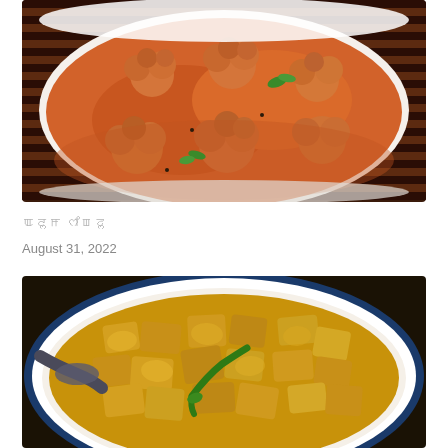[Figure (photo): A white bowl containing cauliflower florets in an orange-red curry sauce with green herb garnish, placed on a striped brown and white cloth/mat background.]
ꯑꯂꯨꯝ ꯁꯤꯡꯖꯨ
August 31, 2022
[Figure (photo): A plate with a blue rim containing golden-yellow spiced potato and paneer (tofu/cottage cheese) dry stir-fry dish with a green chili on top, with a spoon partially visible on the left side.]